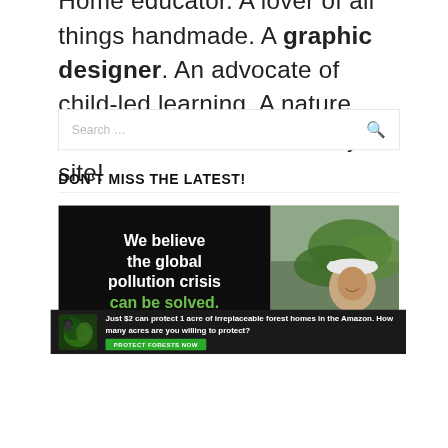Home educator. A lover of all things handmade. A graphic designer. An advocate of child-led learning. A nature adventurer. Welcome to my site!
[Figure (screenshot): Search bar with placeholder text 'Search ...' and a magnifying glass icon on the right]
DON'T MISS THE LATEST!
[Figure (infographic): Green and black advocacy banner with text 'We believe the global pollution crisis can be solved.' alongside an image of a person wearing a white hard hat near large green leaves]
[Figure (infographic): Dark banner ad: 'Just $2 can protect 1 acre of irreplaceable forest homes in the Amazon. How many acres are you willing to protect?' with a green 'PROTECT FORESTS NOW' button]